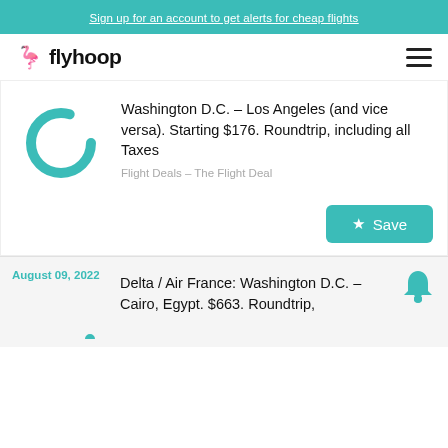Sign up for an account to get alerts for cheap flights
[Figure (logo): Flyhoop logo with flamingo icon and wordmark 'flyhoop']
[Figure (illustration): Teal circular loading spinner graphic]
Washington D.C. – Los Angeles (and vice versa). Starting $176. Roundtrip, including all Taxes
Flight Deals – The Flight Deal
Save
August 09, 2022
[Figure (illustration): Teal partial circular spinner graphic]
Delta / Air France: Washington D.C. – Cairo, Egypt. $663. Roundtrip,